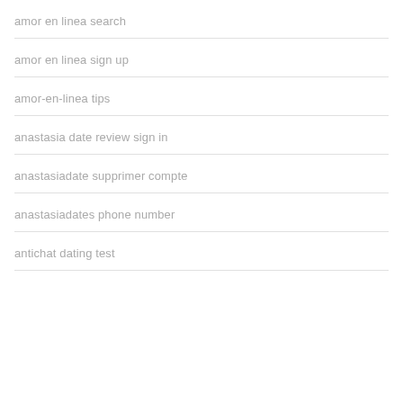amor en linea search
amor en linea sign up
amor-en-linea tips
anastasia date review sign in
anastasiadate supprimer compte
anastasiadates phone number
antichat dating test